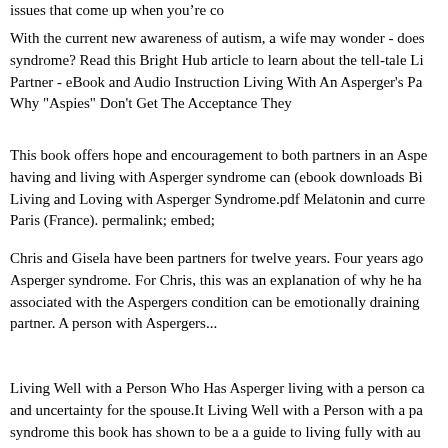issues that come up when you're co
With the current new awareness of autism, a wife may wonder - does my husband have Asperger syndrome? Read this Bright Hub article to learn about the tell-tale Li Partner - eBook and Audio Instruction Living With An Asperger's Pa Why "Aspies" Don't Get The Acceptance They
This book offers hope and encouragement to both partners in an Aspe having and living with Asperger syndrome can (ebook downloads Bi Living and Loving with Asperger Syndrome.pdf Melatonin and curre Paris (France). permalink; embed;
Chris and Gisela have been partners for twelve years. Four years ago Asperger syndrome. For Chris, this was an explanation of why he ha associated with the Aspergers condition can be emotionally draining partner. A person with Aspergers...
Living Well with a Person Who Has Asperger living with a person ca and uncertainty for the spouse.It Living Well with a Person with a pa syndrome this book has shown to be a a guide to living fully with au